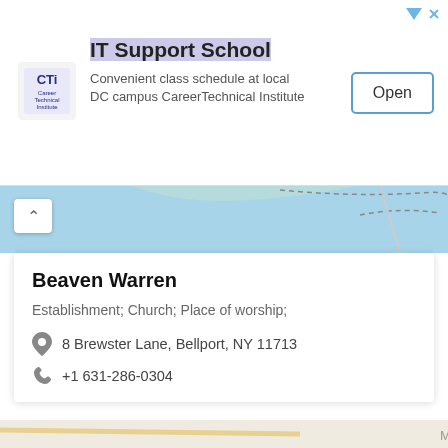[Figure (screenshot): Advertisement banner for IT Support School by Career Technical Institute with Open button]
IT Support School
Convenient class schedule at local DC campus CareerTechnical Institute
[Figure (map): Top portion of Google Maps showing water/bay area]
Beaven Warren
Establishment; Church; Place of worship;
8 Brewster Lane, Bellport, NY 11713
+1 631-286-0304
[Figure (map): Google Maps showing North Bellport, Bellport area with red location pin marker]